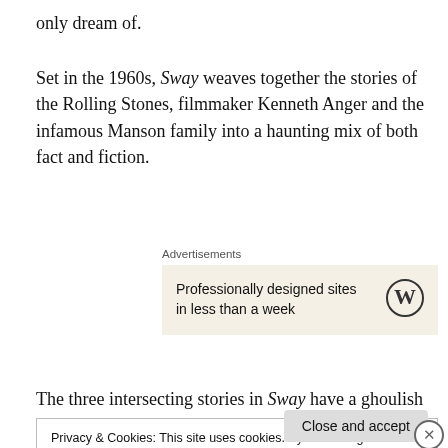only dream of.
Set in the 1960s, Sway weaves together the stories of the Rolling Stones, filmmaker Kenneth Anger and the infamous Manson family into a haunting mix of both fact and fiction.
[Figure (other): Advertisement box with WordPress logo. Text: 'Professionally designed sites in less than a week']
The three intersecting stories in Sway have a ghoulish
Privacy & Cookies: This site uses cookies. By continuing to use this website, you agree to their use.
To find out more, including how to control cookies, see here: Cookie Policy